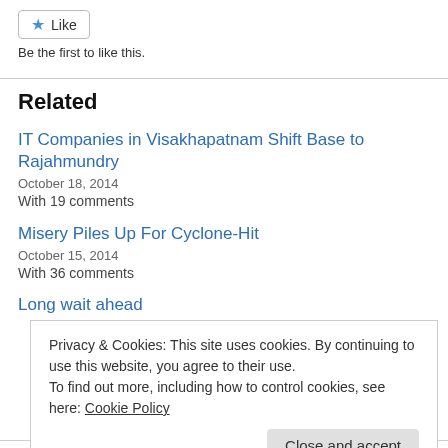[Figure (other): Like button with blue star icon and 'Like' text]
Be the first to like this.
Related
IT Companies in Visakhapatnam Shift Base to Rajahmundry
October 18, 2014
With 19 comments
Misery Piles Up For Cyclone-Hit
October 15, 2014
With 36 comments
Long wait ahead
Privacy & Cookies: This site uses cookies. By continuing to use this website, you agree to their use.
To find out more, including how to control cookies, see here: Cookie Policy
Close and accept